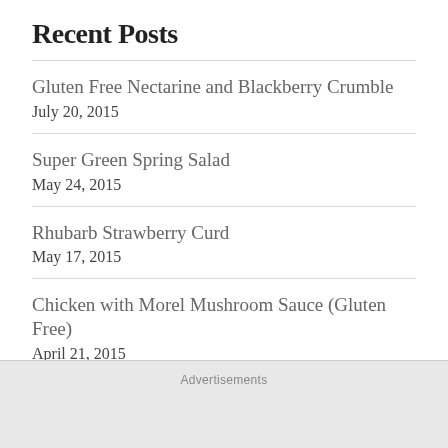Recent Posts
Gluten Free Nectarine and Blackberry Crumble
July 20, 2015
Super Green Spring Salad
May 24, 2015
Rhubarb Strawberry Curd
May 17, 2015
Chicken with Morel Mushroom Sauce (Gluten Free)
April 21, 2015
Four Ingredient Dark Chocolate Peanut Butter Eggs
April 12, 2015
Advertisements